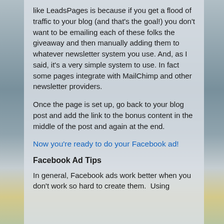like LeadsPages is because if you get a flood of traffic to your blog (and that's the goal!) you don't want to be emailing each of these folks the giveaway and then manually adding them to whatever newsletter system you use. And, as I said, it's a very simple system to use. In fact some pages integrate with MailChimp and other newsletter providers.
Once the page is set up, go back to your blog post and add the link to the bonus content in the middle of the post and again at the end.
Now you're ready to do your Facebook ad!
Facebook Ad Tips
In general, Facebook ads work better when you don't work so hard to create them.  Using